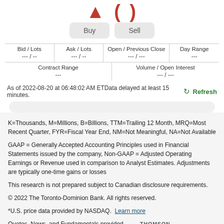[Figure (logo): Red TD logo partial display at top]
Buy   Sell
| Bid / Lots | Ask / Lots | Open / Previous Close | Day Range |
| --- | --- | --- | --- |
| --- / -- | --- / -- | --- / --- | --- |
| Contract Range | Volume / Open Interest |  |  |
| --- | --- / --- |  |  |
As of 2022-08-20 at 06:48:02 AM ETData delayed at least 15 minutes.
Refresh
K=Thousands, M=Millions, B=Billions, TTM=Trailing 12 Month, MRQ=Most Recent Quarter, FYR=Fiscal Year End, NM=Not Meaningful, NA=Not Available
GAAP = Generally Accepted Accounting Principles used in Financial Statements issued by the company, Non-GAAP = Adjusted Operating Earnings or Revenue used in comparison to Analyst Estimates. Adjustments are typically one-time gains or losses
This research is not prepared subject to Canadian disclosure requirements.
© 2022 The Toronto-Dominion Bank. All rights reserved.
*U.S. price data provided by NASDAQ.  Learn more
Quotes, News, and Fundamentals provided by  THOMSON REUTERS  View